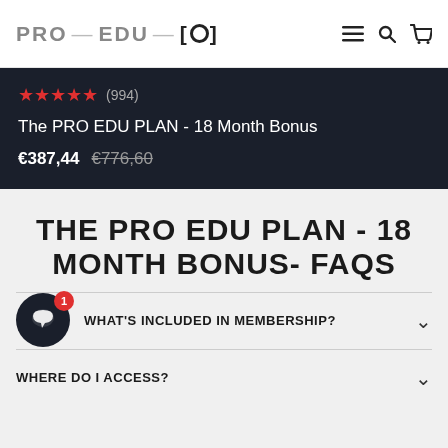PRO EDU [o]
★★★★★ (994)
The PRO EDU PLAN - 18 Month Bonus
€387,44  €776,60
THE PRO EDU PLAN - 18 MONTH BONUS- FAQS
WHAT'S INCLUDED IN MEMBERSHIP?
WHERE DO I ACCESS?